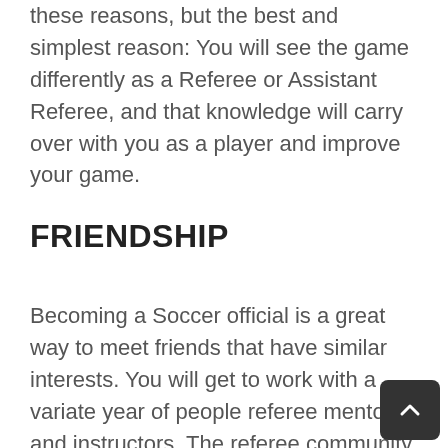these reasons, but the best and simplest reason: You will see the game differently as a Referee or Assistant Referee, and that knowledge will carry over with you as a player and improve your game.
FRIENDSHIP
Becoming a Soccer official is a great way to meet friends that have similar interests. You will get to work with a variate year of people referee mentors and instructors. The referee community in Northern California is a very family-friendly atmosphere, and you will have the chance to make friends with officials from all over the state.  Working with different referees helps you understand how different people can be so much like you and